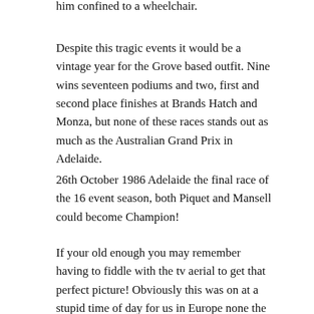him confined to a wheelchair.
Despite this tragic events it would be a vintage year for the Grove based outfit. Nine wins seventeen podiums and two, first and second place finishes at Brands Hatch and Monza, but none of these races stands out as much as the Australian Grand Prix in Adelaide.
26th October 1986 Adelaide the final race of the 16 event season, both Piquet and Mansell could become Champion!
If your old enough you may remember having to fiddle with the tv aerial to get that perfect picture! Obviously this was on at a stupid time of day for us in Europe none the less I was determined to stay up and watch